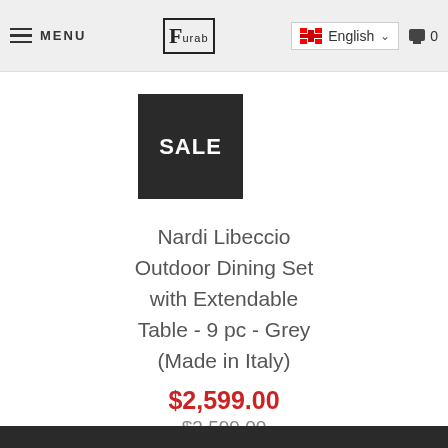MENU | Furab | English | 0
[Figure (other): Black SALE badge/label]
Nardi Libeccio Outdoor Dining Set with Extendable Table - 9 pc - Grey (Made in Italy)
$2,599.00
$3,599.00
[Figure (other): Grey color swatch square]